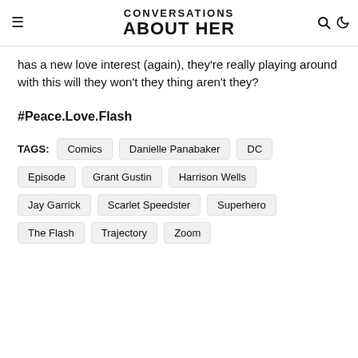CONVERSATIONS ABOUT HER
has a new love interest (again), they're really playing around with this will they won't they thing aren't they?
#Peace.Love.Flash
TAGS: Comics  Danielle Panabaker  DC  Episode  Grant Gustin  Harrison Wells  Jay Garrick  Scarlet Speedster  Superhero  The Flash  Trajectory  Zoom